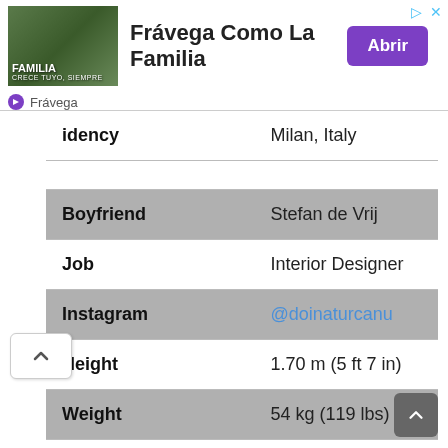[Figure (advertisement): Frávega Como La Familia advertisement banner with team photo, purple Abrir button, and Frávega brand name]
| Field | Value |
| --- | --- |
| Residency | Milan, Italy |
| Boyfriend | Stefan de Vrij |
| Job | Interior Designer |
| Instagram | @doinaturcanu |
| Height | 1.70 m (5 ft 7 in) |
| Weight | 54 kg (119 lbs) |
| Tattoos | Doina currently has no tattoos |